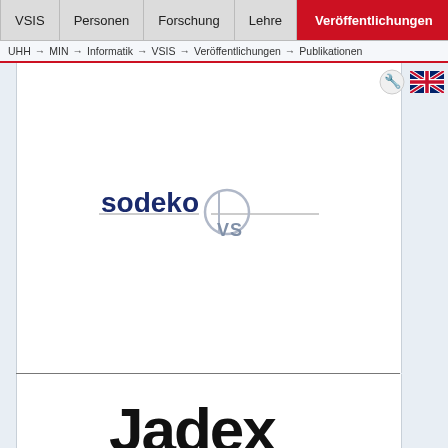VSIS | Personen | Forschung | Lehre | Veröffentlichungen
UHH → MIN → Informatik → VSIS → Veröffentlichungen → Publikationen
[Figure (logo): Sodeko VS logo with horizontal lines and circular emblem]
[Figure (logo): Jadex logo text in large black bold font]